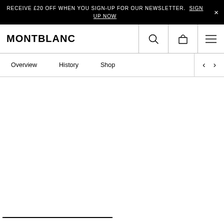RECEIVE £20 OFF WHEN YOU SIGN-UP FOR OUR NEWSLETTER. SIGN UP NOW
[Figure (logo): Montblanc logo — bold black uppercase text reading MONTBLANC]
[Figure (screenshot): Website navigation bar with search icon, bag icon, and hamburger menu icon]
[Figure (screenshot): Sub-navigation with links: Overview, History, Shop, and left/right arrow controls]
[Figure (screenshot): Empty white content area with a short black horizontal bar at the bottom left]